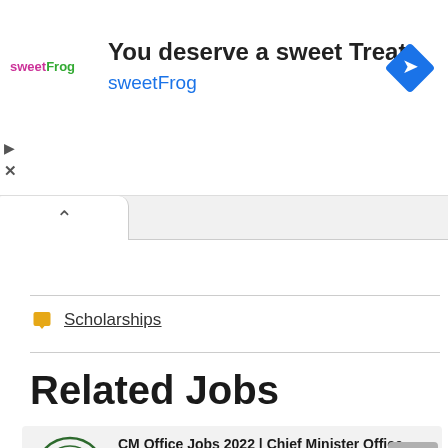[Figure (screenshot): SweetFrog advertisement banner with logo, headline 'You deserve a sweet Treat', subtext 'sweetFrog', and a blue diamond navigation icon on the right.]
Scholarships
Related Jobs
CM Office Jobs 2022 | Chief Minister Office Media Graduate Program Announced Latest Advertisement Jobs 2022
Chief Minister Secretariat   Full Time   Lahore